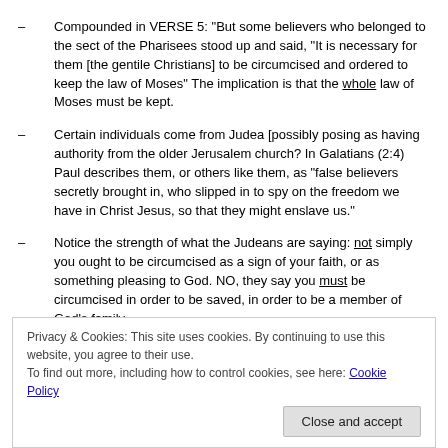Compounded in VERSE 5: “But some believers who belonged to the sect of the Pharisees stood up and said, “It is necessary for them [the gentile Christians] to be circumcised and ordered to keep the law of Moses”  The implication is that the whole law of Moses must be kept.
Certain individuals come from Judea [possibly posing as having authority from the older Jerusalem church? In Galatians (2:4) Paul describes them, or others like them, as “false believers secretly brought in, who slipped in to spy on the freedom we have in Christ Jesus, so that they might enslave us.”
Notice the strength of what the Judeans are saying: not simply you ought to be circumcised as a sign of your faith, or as something pleasing to God.  NO, they say you must be circumcised in order to be saved, in order to be a member of God’s family.
Privacy & Cookies: This site uses cookies. By continuing to use this website, you agree to their use.
To find out more, including how to control cookies, see here: Cookie Policy